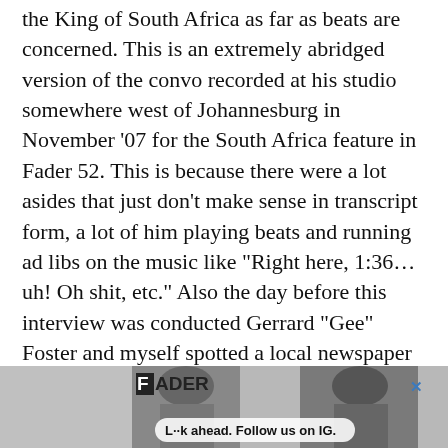the King of South Africa as far as beats are concerned. This is an extremely abridged version of the convo recorded at his studio somewhere west of Johannesburg in November '07 for the South Africa feature in Fader 52. This is because there were a lot asides that just don't make sense in transcript form, a lot of him playing beats and running ad libs on the music like "Right here, 1:36…uh! Oh shit, etc." Also the day before this interview was conducted Gerrard "Gee" Foster and myself spotted a local newspaper headline about Cleo raping a dog which was apparently written by one of his rivals. This naturally provided a lot of disgruntled commentary and jokes that won't necessarily make sense out of context.
[Figure (other): FADER advertisement banner with two photos of a woman and text overlay reading 'L··k ahead. Follow us on IG.' with a close button X in the top right.]